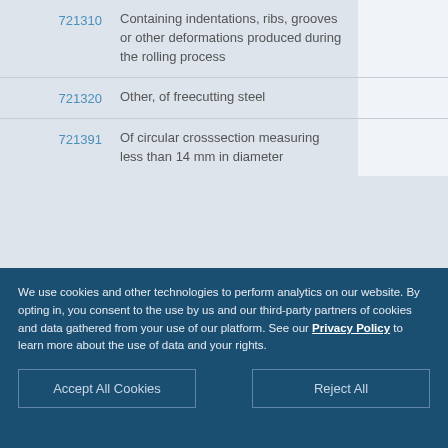| Code | Description |  |
| --- | --- | --- |
| 721310 | Containing indentations, ribs, grooves or other deformations produced during the rolling process |  |
| 721320 | Other, of freecutting steel |  |
| 721391 | Of circular crosssection measuring less than 14 mm in diameter |  |
We use cookies and other technologies to perform analytics on our website. By opting in, you consent to the use by us and our third-party partners of cookies and data gathered from your use of our platform. See our Privacy Policy to learn more about the use of data and your rights.
Accept All Cookies
Reject All